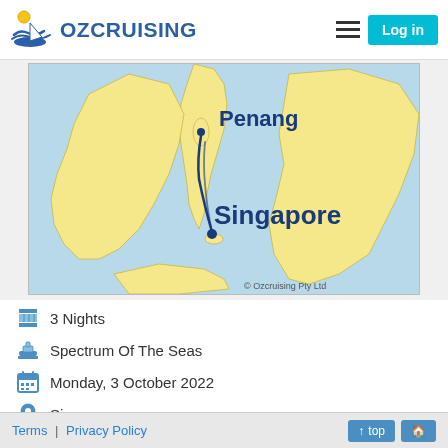OZCRUISING | Log in
[Figure (map): Map of Southeast Asia showing cruise route between Singapore and Penang, with curved line connecting the two ports. Land masses in yellow, sea in light blue. Copyright Ozcruising Pty Ltd.]
3 Nights
Spectrum Of The Seas
Monday, 3 October 2022
Singapore
Twin From $465 pp
Quad From $448 pp
Discounted Fares
Terms | Privacy Policy   ↑ top  🏠